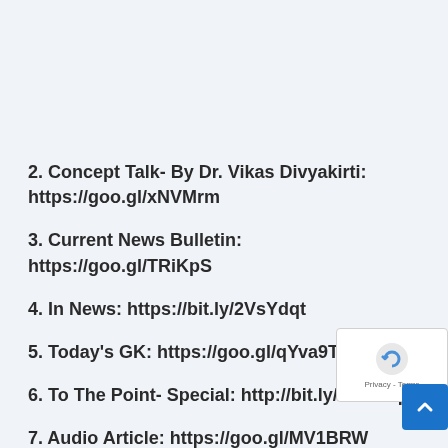2. Concept Talk- By Dr. Vikas Divyakirti: https://goo.gl/xNVMrm
3. Current News Bulletin: https://goo.gl/TRiKpS
4. In News: https://bit.ly/2VsYdqt
5. Today's GK: https://goo.gl/qYva9T
6. To The Point- Special: http://bit.ly/2UwSbp
7. Audio Article: https://goo.gl/MV1BRW